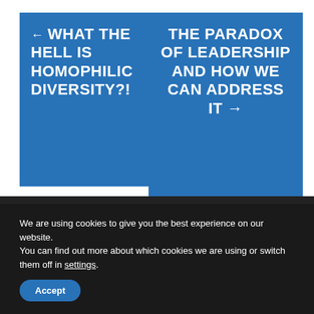← WHAT THE HELL IS HOMOPHILIC DIVERSITY?!
THE PARADOX OF LEADERSHIP AND HOW WE CAN ADDRESS IT →
Upcoming Events
We are using cookies to give you the best experience on our website.
You can find out more about which cookies we are using or switch them off in settings.
Accept